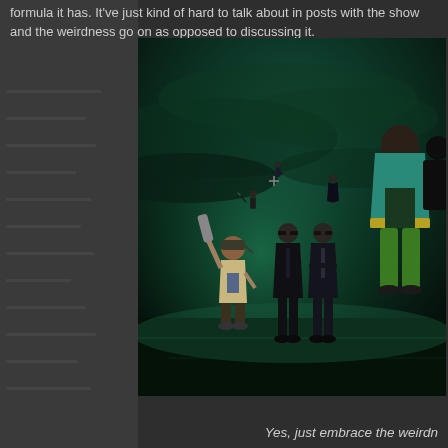formula it has. It've just kind of hard to talk about in posts with the show and the weirdness go on as opposed to discussing it.
[Figure (screenshot): Anime screenshot showing characters in a dark green-tinted scene. In the foreground, a small character holds up a bat or weapon. Two figures in dark suits stand in the middle ground. A large character in a teal/green hoodie stands on the right edge. In the background, several figures appear to be flying or floating against a stormy green-tinted sky.]
Yes, just embrace the weirdn